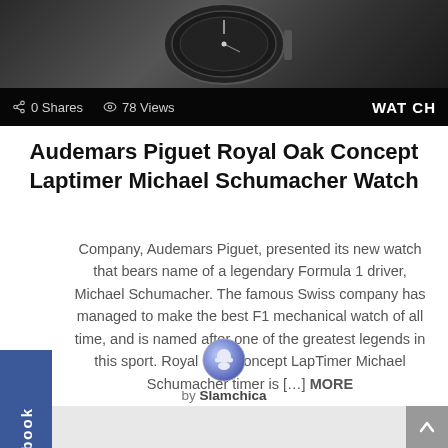[Figure (photo): Close-up of a luxury mechanical watch face (Audemars Piguet Royal Oak Concept) with dark background. Overlay bar shows: share icon, 0 Shares, eye icon, 78 Views, WATCH button.]
Audemars Piguet Royal Oak Concept Laptimer Michael Schumacher Watch
Company, Audemars Piguet, presented its new watch that bears name of a legendary Formula 1 driver, Michael Schumacher. The famous Swiss company has managed to make the best F1 mechanical watch of all time, and is named after one of the greatest legends in this sport. Royal Oak Concept LapTimer Michael Schumacher timer is […] MORE
[Figure (illustration): Round avatar icon showing a cartoon face with blue/purple tones]
by Slamchica
7 years ago